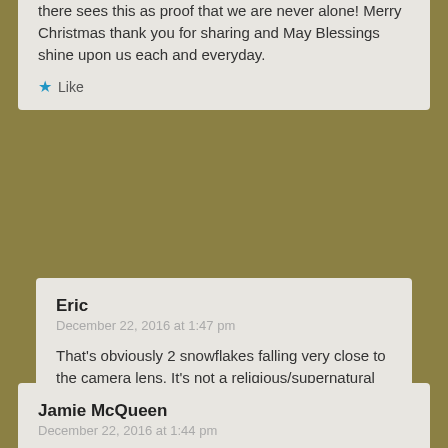there sees this as proof that we are never alone! Merry Christmas thank you for sharing and May Blessings shine upon us each and everyday.
Like
Eric
December 22, 2016 at 1:47 pm
That's obviously 2 snowflakes falling very close to the camera lens. It's not a religious/supernatural event. You can see the other snowflakes falling too. I'm a believer, but we must also be realistic too.
Like
Jamie McQueen
December 22, 2016 at 1:44 pm